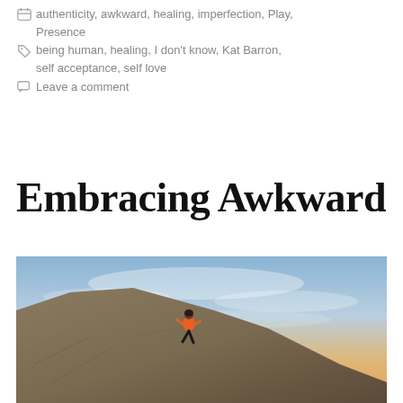authenticity, awkward, healing, imperfection, Play, Presence
being human, healing, I don't know, Kat Barron, self acceptance, self love
Leave a comment
Embracing Awkward
[Figure (photo): A person in an orange top climbing a rocky slope against a dramatic sunset sky with blue and orange hues.]